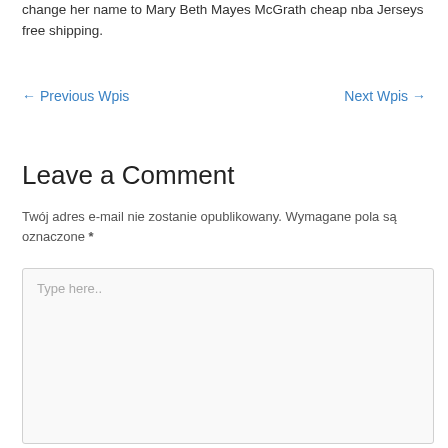change her name to Mary Beth Mayes McGrath cheap nba Jerseys free shipping.
← Previous Wpis    Next Wpis →
Leave a Comment
Twój adres e-mail nie zostanie opublikowany. Wymagane pola są oznaczone *
Type here..